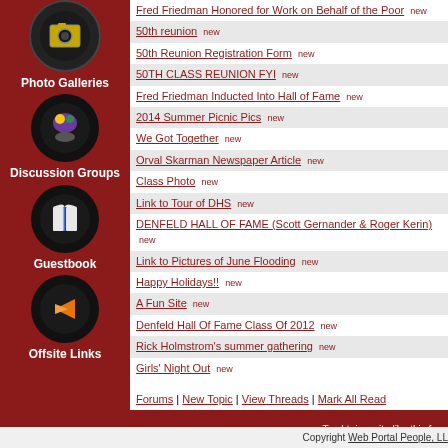[Figure (illustration): Camera icon in black circle — Photo Galleries]
Photo Galleries
[Figure (illustration): Discussion groups icon in black circle]
Discussion Groups
[Figure (illustration): Open book icon in black circle — Guestbook]
Guestbook
[Figure (illustration): Orange arrow icon in black circle — Offsite Links]
Offsite Links
Fred Friedman Honored for Work on Behalf of the Poor new
50th reunion new
50th Reunion Registration Form new
50TH CLASS REUNION FYI new
Fred Friedman Inducted Into Hall of Fame new
2014 Summer Picnic Pics new
We Got Together new
Orval Skarman Newspaper Article new
Class Photo new
Link to Tour of DHS new
DENFELD HALL OF FAME (Scott Gernander & Roger Kerin) new
Link to Pictures of June Flooding new
Happy Holidays!! new
A Fun Site new
Denfeld Hall Of Fame Class Of 2012 new
Rick Holmstrom's summer gathering new
Girls' Night Out new
Forums | New Topic | View Threads | Mark All Read
To obtain a site like this for y
Copyright Web Portal People, LL